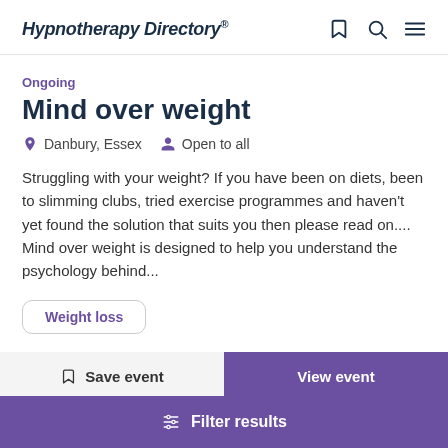Hypnotherapy Directory
Ongoing
Mind over weight
Danbury, Essex   Open to all
Struggling with your weight? If you have been on diets, been to slimming clubs, tried exercise programmes and haven't yet found the solution that suits you then please read on.... Mind over weight is designed to help you understand the psychology behind...
Weight loss
Save event
View event
Filter results